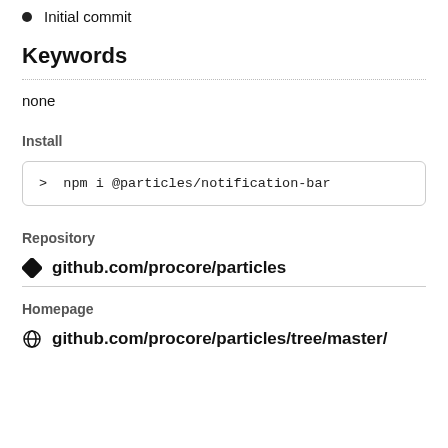Initial commit
Keywords
none
Install
> npm i @particles/notification-bar
Repository
github.com/procore/particles
Homepage
github.com/procore/particles/tree/master/